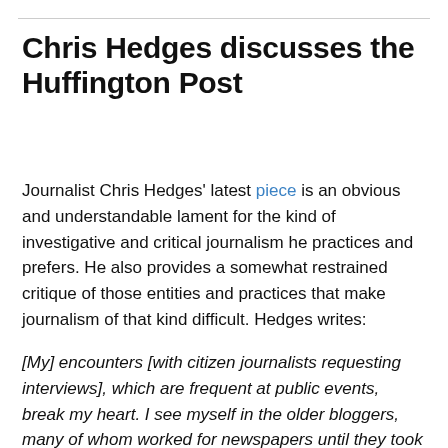Chris Hedges discusses the Huffington Post
Journalist Chris Hedges' latest piece is an obvious and understandable lament for the kind of investigative and critical journalism he practices and prefers. He also provides a somewhat restrained critique of those entities and practices that make journalism of that kind difficult. Hedges writes:
[My] encounters [with citizen journalists requesting interviews], which are frequent at public events, break my heart. I see myself in the older bloggers, many of whom worked for newspapers until they took buyouts or were laid off, as well as in the aspiring reporters. These men